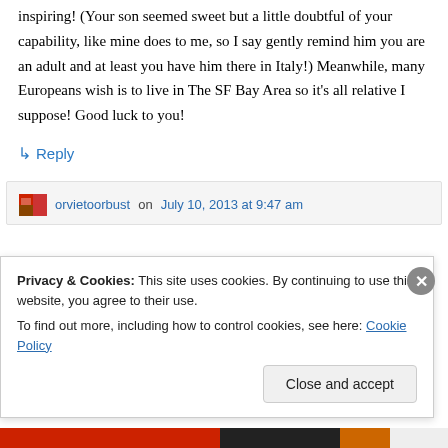inspiring! (Your son seemed sweet but a little doubtful of your capability, like mine does to me, so I say gently remind him you are an adult and at least you have him there in Italy!) Meanwhile, many Europeans wish is to live in The SF Bay Area so it's all relative I suppose! Good luck to you!
↳ Reply
orvietoorbust on July 10, 2013 at 9:47 am
Privacy & Cookies: This site uses cookies. By continuing to use this website, you agree to their use. To find out more, including how to control cookies, see here: Cookie Policy
Close and accept